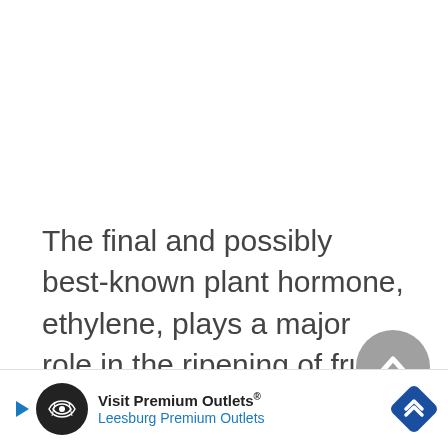The final and possibly best-known plant hormone, ethylene, plays a major role in the ripening of fruit. Ethylene is an unusual plant hormone in that it is released outside the plant and into the atmosphere. One plant is the...
[Figure (other): Advertisement banner for Visit Premium Outlets - Leesburg Premium Outlets, with logo circle, play button, and diamond-shaped arrow icon]